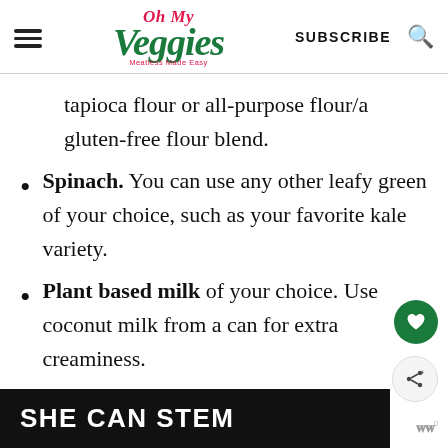Oh My Veggies — Meatless Made Easy | SUBSCRIBE
tapioca flour or all-purpose flour/a gluten-free flour blend.
Spinach. You can use any other leafy green of your choice, such as your favorite kale variety.
Plant based milk of your choice. Use coconut milk from a can for extra creaminess.
[Figure (other): SHE CAN STEM advertisement banner in dark background with white bold text]